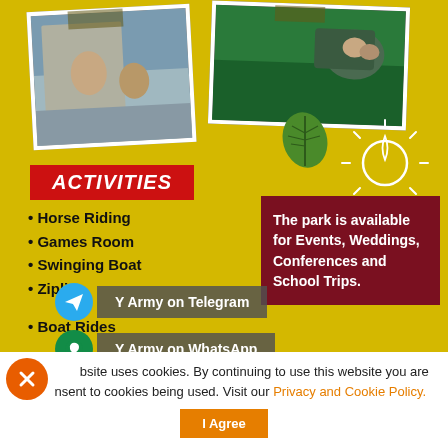[Figure (photo): Two people on a slide/ramp outdoors, photo with white border and tape]
[Figure (photo): People on a boat in green water, photo with white border and tape]
ACTIVITIES
Horse Riding
Games Room
Swinging Boat
Zipline
The park is available for Events, Weddings, Conferences and School Trips.
Boat Rides
Y Army on Telegram
Y Army on WhatsApp
This website uses cookies. By continuing to use this website you are giving consent to cookies being used. Visit our Privacy and Cookie Policy.